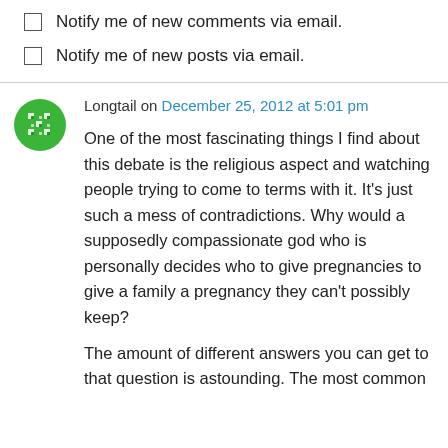Notify me of new comments via email.
Notify me of new posts via email.
Longtail on December 25, 2012 at 5:01 pm
One of the most fascinating things I find about this debate is the religious aspect and watching people trying to come to terms with it. It's just such a mess of contradictions. Why would a supposedly compassionate god who is personally decides who to give pregnancies to give a family a pregnancy they can't possibly keep?
The amount of different answers you can get to that question is astounding. The most common